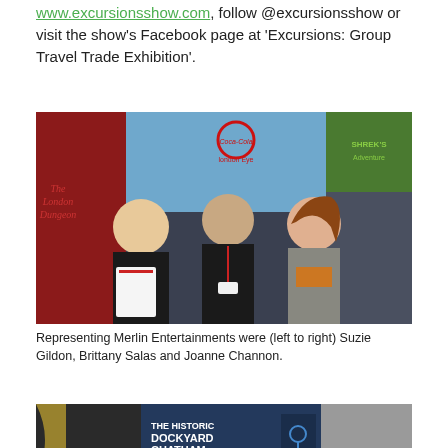www.excursionsshow.com, follow @excursionsshow or visit the show's Facebook page at 'Excursions: Group Travel Trade Exhibition'.
[Figure (photo): Three women standing in front of exhibition banners for The London Dungeon, Coca-Cola London Eye, and Shrek's Adventure. The woman on the left holds a white folder.]
Representing Merlin Entertainments were (left to right) Suzie Gildon, Brittany Salas and Joanne Channon.
[Figure (photo): Exhibition stand for The Historic Dockyard Chatham with text 'EXCITEMENT, CHOICE AND DISCOVERY...' and a woman partially visible in the foreground.]